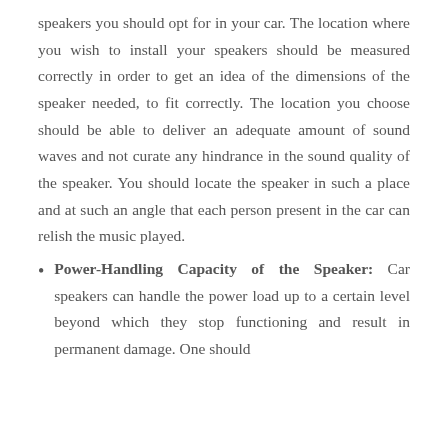speakers you should opt for in your car. The location where you wish to install your speakers should be measured correctly in order to get an idea of the dimensions of the speaker needed, to fit correctly. The location you choose should be able to deliver an adequate amount of sound waves and not curate any hindrance in the sound quality of the speaker. You should locate the speaker in such a place and at such an angle that each person present in the car can relish the music played.
Power-Handling Capacity of the Speaker: Car speakers can handle the power load up to a certain level beyond which they stop functioning and result in permanent damage. One should